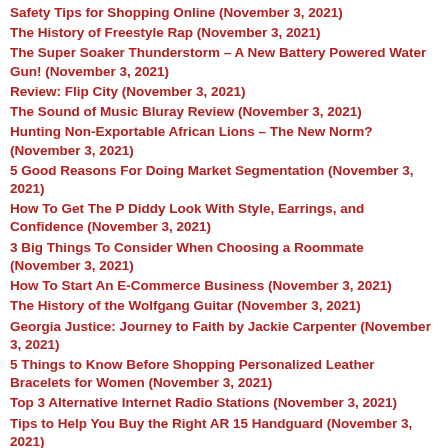Safety Tips for Shopping Online (November 3, 2021)
The History of Freestyle Rap (November 3, 2021)
The Super Soaker Thunderstorm – A New Battery Powered Water Gun! (November 3, 2021)
Review: Flip City (November 3, 2021)
The Sound of Music Bluray Review (November 3, 2021)
Hunting Non-Exportable African Lions – The New Norm? (November 3, 2021)
5 Good Reasons For Doing Market Segmentation (November 3, 2021)
How To Get The P Diddy Look With Style, Earrings, and Confidence (November 3, 2021)
3 Big Things To Consider When Choosing a Roommate (November 3, 2021)
How To Start An E-Commerce Business (November 3, 2021)
The History of the Wolfgang Guitar (November 3, 2021)
Georgia Justice: Journey to Faith by Jackie Carpenter (November 3, 2021)
5 Things to Know Before Shopping Personalized Leather Bracelets for Women (November 3, 2021)
Top 3 Alternative Internet Radio Stations (November 3, 2021)
Tips to Help You Buy the Right AR 15 Handguard (November 3, 2021)
Get a Bargain at Festival Park – Mallorca's Premier Shopping Centre (November 3, 2021)
The Elite Records That Followed Rock's First Flawless Album, Bob